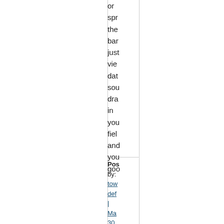or
spr
the
bar
just
vie
dat
sou
dra
in
you
fiel
and
you
goo
Posted by: tow def | May 30, 200 at 06: AM